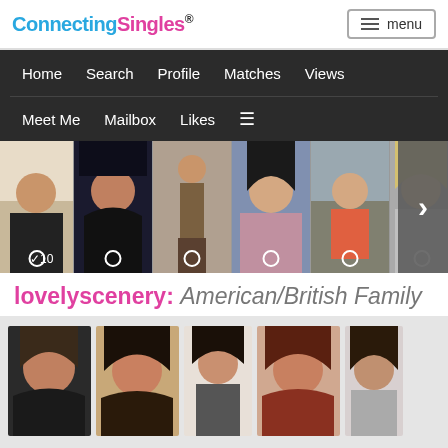ConnectingSingles®
menu
Home   Search   Profile   Matches   Views
Meet Me   Mailbox   Likes   ≡
[Figure (photo): Horizontal photo strip showing six profile photos of women, with a right-arrow navigation button on the far right]
lovelyscenery: American/British Family
[Figure (photo): Gallery of five portrait photos of a woman with dark hair, shown in various poses and settings]
[Figure (other): Navigation arrow pointing right at bottom of page]